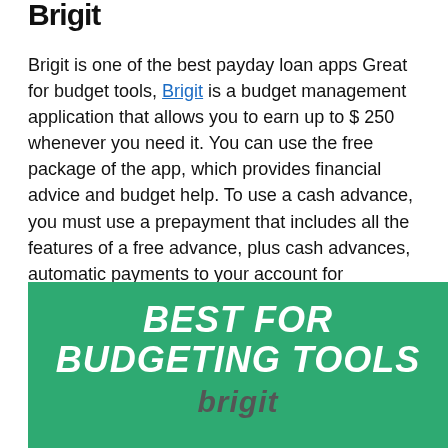Brigit
Brigit is one of the best payday loan apps Great for budget tools, Brigit is a budget management application that allows you to earn up to $ 250 whenever you need it. You can use the free package of the app, which provides financial advice and budget help. To use a cash advance, you must use a prepayment that includes all the features of a free advance, plus cash advances, automatic payments to your account for overdrafts, and credit monitoring.
[Figure (infographic): Green banner with bold italic white text reading BEST FOR BUDGETING TOOLS and partial subtitle below]